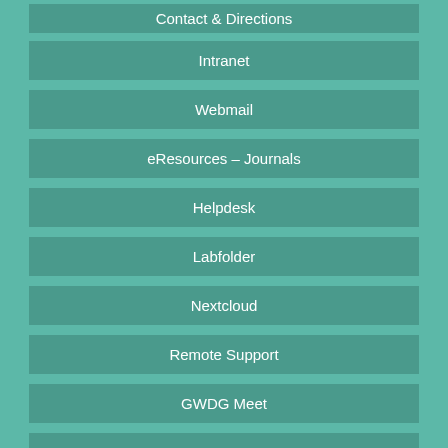Contact & Directions
Intranet
Webmail
eResources – Journals
Helpdesk
Labfolder
Nextcloud
Remote Support
GWDG Meet
RSS